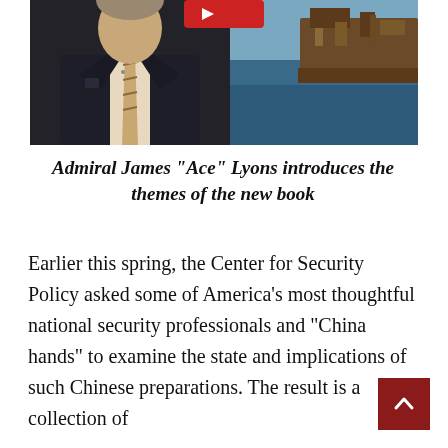[Figure (photo): A man in a dark suit with a striped tie stands in front of a composite background showing an ocean scene with a rusted ship on the right side. A red play button is partially visible at the top center.]
Admiral James “Ace” Lyons introduces the themes of the new book
Earlier this spring, the Center for Security Policy asked some of America’s most thoughtful national security professionals and “China hands” to examine the state and implications of such Chinese preparations. The result is a collection of